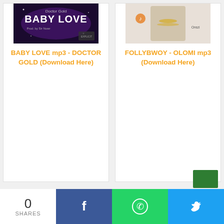[Figure (photo): Baby Love mp3 - Doctor Gold album art with purple/dark background and bold text]
BABY LOVE mp3 - DOCTOR GOLD (Download Here)
[Figure (photo): Follybwoy - Olomi mp3 thumbnail showing a person with chains]
FOLLYBWOY - OLOMI mp3 (Download Here)
0 SHARES | Facebook | WhatsApp | Twitter